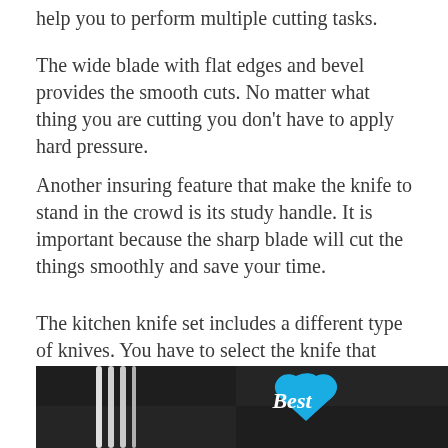help you to perform multiple cutting tasks.
The wide blade with flat edges and bevel provides the smooth cuts. No matter what thing you are cutting you don't have to apply hard pressure.
Another insuring feature that make the knife to stand in the crowd is its study handle. It is important because the sharp blade will cut the things smoothly and save your time.
The kitchen knife set includes a different type of knives. You have to select the knife that provides proper and non-slippery grip plus you can maintain the balance while cutting the meat, veggies or bread.
[Figure (photo): Photo of kitchen knives with a blue heart-shaped badge reading 'Best' in white italic text, set against a dark blurred background]